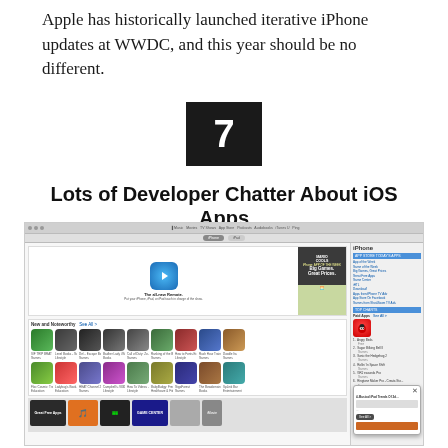Apple has historically launched iterative iPhone updates at WWDC, and this year should be no different.
7
Lots of Developer Chatter About iOS Apps
[Figure (screenshot): Screenshot of the Apple App Store showing the iOS App Store interface with the Remote app featured, app grid of New and Noteworthy apps, top apps sidebar including Angry Birds, and a dialog box overlay.]